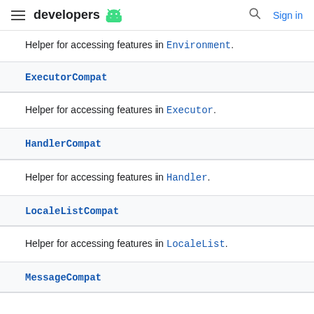developers [android logo] [search] Sign in
Helper for accessing features in Environment.
ExecutorCompat
Helper for accessing features in Executor.
HandlerCompat
Helper for accessing features in Handler.
LocaleListCompat
Helper for accessing features in LocaleList.
MessageCompat